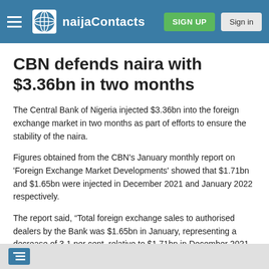naijaContacts — SIGN UP | Sign in
CBN defends naira with $3.36bn in two months
The Central Bank of Nigeria injected $3.36bn into the foreign exchange market in two months as part of efforts to ensure the stability of the naira.
Figures obtained from the CBN's January monthly report on 'Foreign Exchange Market Developments' showed that $1.71bn and $1.65bn were injected in December 2021 and January 2022 respectively.
The report said, “Total foreign exchange sales to authorised dealers by the Bank was $1.65bn in January, representing a decrease of 3.1 per cent, relative to $1.71bn in December 2021.
“A breakdown shows that foreign exchange sales at the Small and Medium Enterprises window, interbank/invisible foreign exchange sales